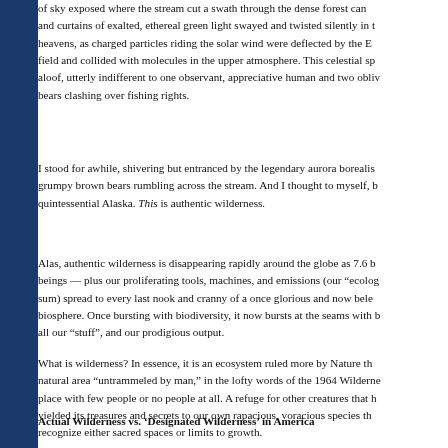of sky exposed where the stream cut a swath through the dense forest can and curtains of exalted, ethereal green light swayed and twisted silently in heavens, as charged particles riding the solar wind were deflected by the E field and collided with molecules in the upper atmosphere. This celestial sp aloof, utterly indifferent to one observant, appreciative human and two obliv bears clashing over fishing rights.
I stood for awhile, shivering but entranced by the legendary aurora borealis grumpy brown bears rumbling across the stream. And I thought to myself, b quintessential Alaska. This is authentic wilderness.
Alas, authentic wilderness is disappearing rapidly around the globe as 7.6 beings — plus our proliferating tools, machines, and emissions (our "ecolog sum) spread to every last nook and cranny of a once glorious and now bele biosphere. Once bursting with biodiversity, it now bursts at the seams with all our "stuff", and our prodigious output.
What is wilderness? In essence, it is an ecosystem ruled more by Nature th natural area "untrammeled by man," in the lofty words of the 1964 Wilderne place with few people or no people at all. A refuge for other creatures that h yielded its treasures and secrets to our own rapacious, voracious species t recognize either sacred spaces or limits to growth.
Actual Wilderness vs. 'Designated Wilderness' in America